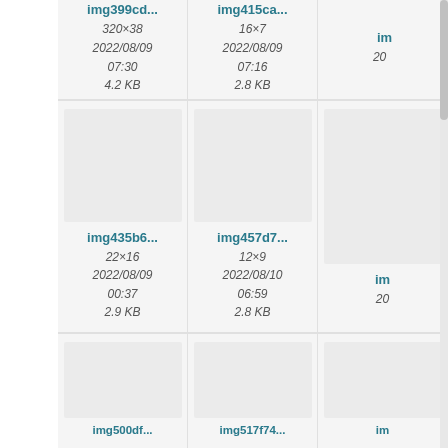[Figure (screenshot): File manager grid view showing image thumbnails with filenames, dimensions, dates, and file sizes. Visible entries: img399cd... (320×38, 2022/08/09 07:30, 4.2 KB), img415ca... (16×7, 2022/08/09 07:16, 2.8 KB), img435b6... (22×16, 2022/08/09 00:37, 2.9 KB), img457d7... (12×9, 2022/08/10 06:59, 2.8 KB), img500df... and img517f74... partially visible at bottom.]